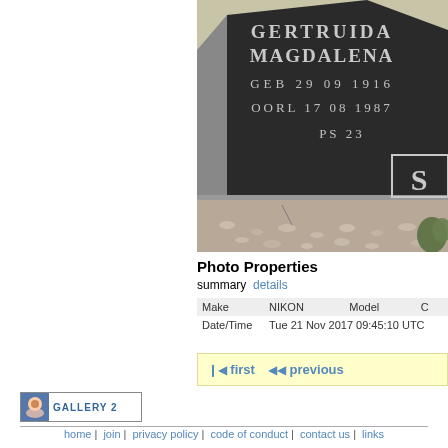[Figure (photo): Photograph of a dark granite gravestone with white engraved text reading: GERTRUIDA MAGDALENA, GEB 29 09 1916, OORL 17 08 1987, PS 23, with partial letters visible on the right edge. The gravestone base is gray and surrounded by gravel and a plant.]
Photo Properties
summary  details
| Make |  | Model |  |
| --- | --- | --- | --- |
| Make | NIKON | Model | C... |
| Date/Time | Tue 21 Nov 2017 09:45:10 UTC |  |  |
❙◀ first  ◀◀ previous
[Figure (logo): Gallery 2 logo — small avatar face image on left, text GALLERY 2 on right, within a bordered box.]
home | join | privacy policy | code of conduct | contact us | links